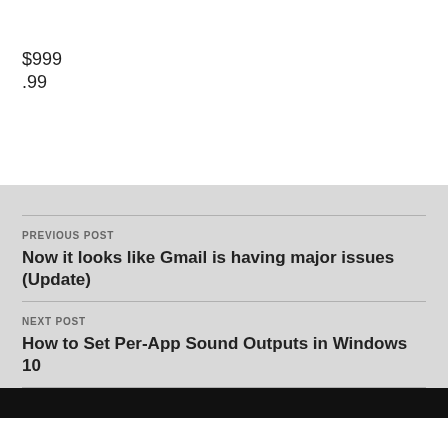$999
.99
PREVIOUS POST
Now it looks like Gmail is having major issues (Update)
NEXT POST
How to Set Per-App Sound Outputs in Windows 10